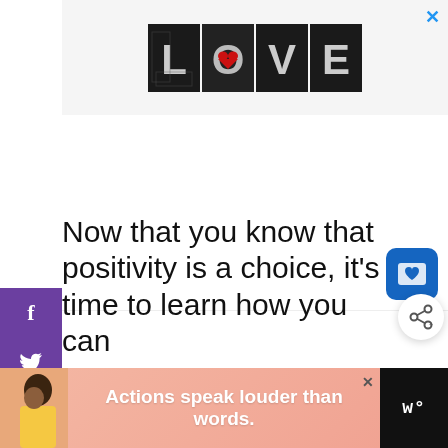[Figure (logo): LOVE logo with artistic letter designs in black and white with a red heart accent on the O]
[Figure (screenshot): Large advertisement area (mostly white/blank space)]
[Figure (infographic): Blue wishlist/save button with heart icon in bottom-right of middle ad area]
[Figure (infographic): Social sharing sidebar on the left with Facebook, Twitter, Pinterest, and LinkedIn icons on purple background]
[Figure (infographic): Share button (circular with share icon) on the right side]
Now that you know that positivity is a choice, it's time to learn how you can
[Figure (photo): Bottom advertisement banner with pink/salmon background showing a person, text 'Actions speak louder than words.' and a dark logo on the right]